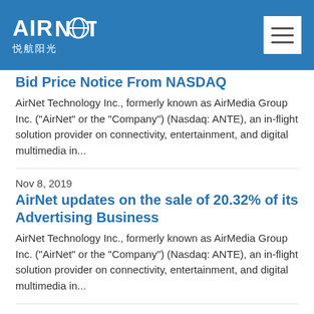[Figure (logo): AirNet (悦航阳光) company logo in white on blue header background, with hamburger menu icon on the right]
Bid Price Notice From NASDAQ
AirNet Technology Inc., formerly known as AirMedia Group Inc. ("AirNet" or the "Company") (Nasdaq: ANTE), an in-flight solution provider on connectivity, entertainment, and digital multimedia in...
Nov 8, 2019
AirNet updates on the sale of 20.32% of its Advertising Business
AirNet Technology Inc., formerly known as AirMedia Group Inc. ("AirNet" or the "Company") (Nasdaq: ANTE), an in-flight solution provider on connectivity, entertainment, and digital multimedia in...
Oct 31, 2019